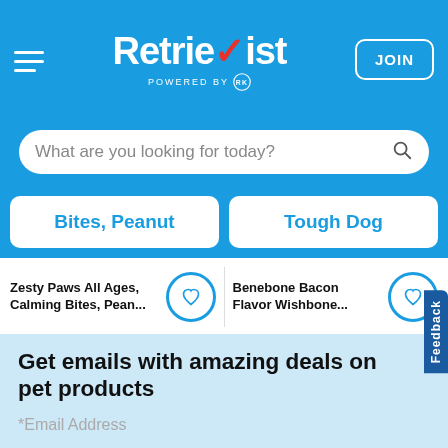Retrievist — POWERED BY [logo] — JOIN
What are you looking for today?
Bites, Peanut
Tough Dog
Zesty Paws All Ages, Calming Bites, Pean...
Benebone Bacon Flavor Wishbone...
Feedback
Get emails with amazing deals on pet products
*Email Address
SUBSCRIBE